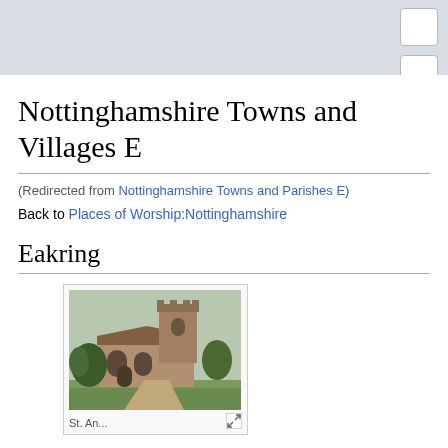Nottinghamshire Towns and Villages E
(Redirected from Nottinghamshire Towns and Parishes E)
Back to Places of Worship:Nottinghamshire
Eakring
[Figure (photo): Photograph of a stone church building with a tower, Gothic arched windows and doorway, surrounded by trees and green lawn. Caption begins with 'St. An...']